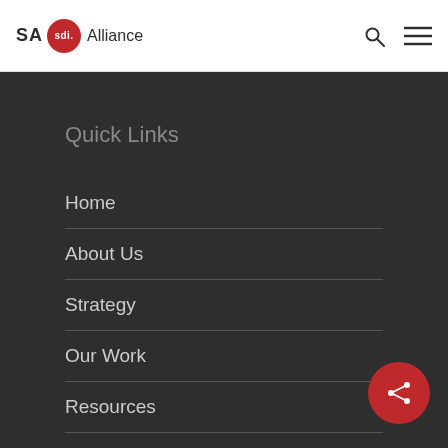SA sdi. Alliance
Quick Links
Home
About Us
Strategy
Our Work
Resources
Contact Us